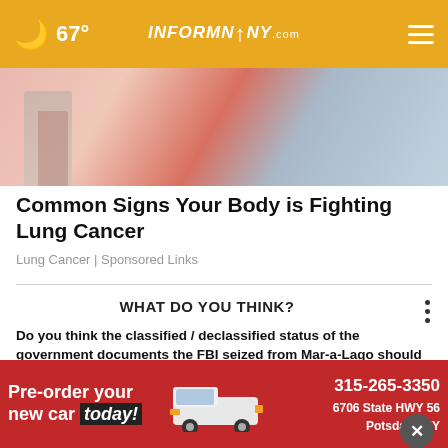67° INFORMNINY.com
[Figure (photo): Hero image with colorful abstract/clothing background in pinks, corals, and light blues]
Common Signs Your Body is Fighting Lung Cancer
Lung Cancer | Sponsored Links
WHAT DO YOU THINK?
Do you think the classified / declassified status of the government documents the FBI seized from Mar-a-Lago should or should not play a role in the Justice Department's decision on whether or not to indict former President Trump over this issue?
[Figure (photo): Bottom banner advertisement: Pre-order your new car today! 315-265-3350, 6706 State HWY 56, Potsdam, NY — shows a white truck/SUV on red background]